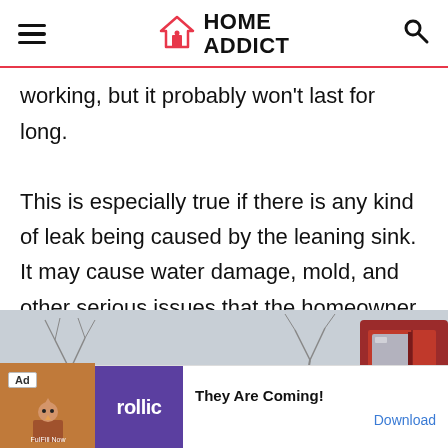HOME ADDICT
working, but it probably won't last for long. This is especially true if there is any kind of leak being caused by the leaning sink. It may cause water damage, mold, and other serious issues that the homeowner will have to deal with later on.
[Figure (photo): Partial view of a red vehicle with bare trees in the background, outdoor winter scene]
Advertisement
[Figure (screenshot): Advertisement banner: Rollic game ad showing 'They Are Coming!' with a Download button]